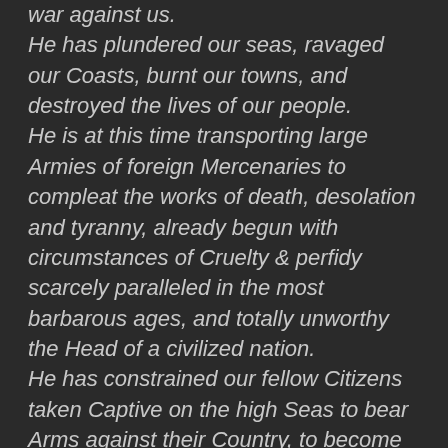war against us. He has plundered our seas, ravaged our Coasts, burnt our towns, and destroyed the lives of our people. He is at this time transporting large Armies of foreign Mercenaries to compleat the works of death, desolation and tyranny, already begun with circumstances of Cruelty & perfidy scarcely paralleled in the most barbarous ages, and totally unworthy the Head of a civilized nation. He has constrained our fellow Citizens taken Captive on the high Seas to bear Arms against their Country, to become the executioners of their friends and Brethren, or to fall